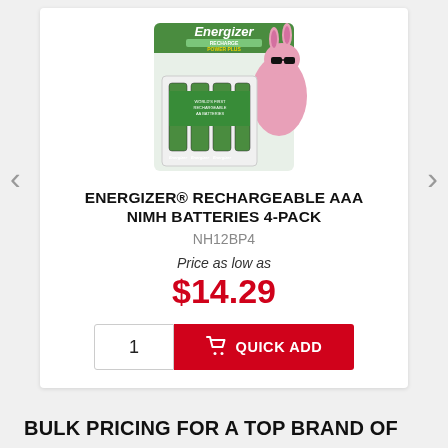[Figure (photo): Energizer Recharge Power Plus AAA NiMH batteries 4-pack product image with Energizer Bunny mascot]
ENERGIZER® RECHARGEABLE AAA NIMH BATTERIES 4-PACK
NH12BP4
Price as low as
$14.29
1
QUICK ADD
BULK PRICING FOR A TOP BRAND OF